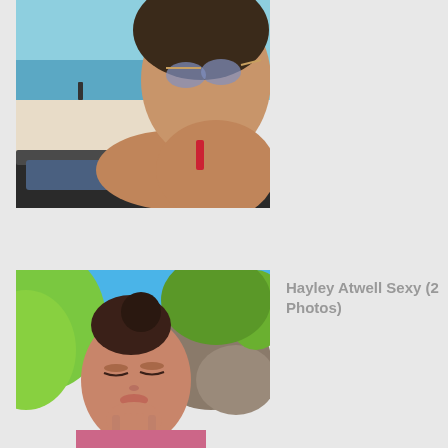[Figure (photo): A woman taking a selfie at a beach, wearing sunglasses, with ocean and sand visible in the background and another person standing near the water]
[Figure (photo): A woman with her hair up, eyes closed, leaning her chin on her hand, outdoors with green foliage and blue sky in the background]
Hayley Atwell Sexy (2 Photos)